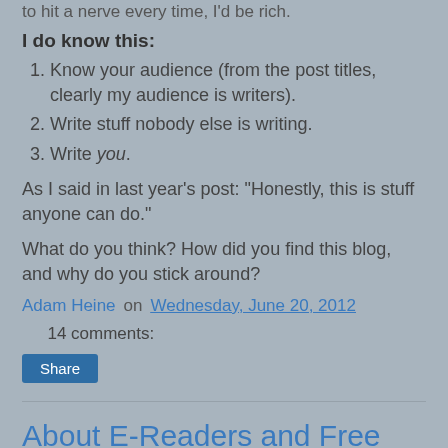to hit a nerve every time, I'd be rich.
I do know this:
Know your audience (from the post titles, clearly my audience is writers).
Write stuff nobody else is writing.
Write you.
As I said in last year's post: "Honestly, this is stuff anyone can do."
What do you think? How did you find this blog, and why do you stick around?
Adam Heine on Wednesday, June 20, 2012   14 comments:
Share
About E-Readers and Free Books
[Figure (photo): Partial photo of a bird or animal on a textured surface, cropped at bottom of page]